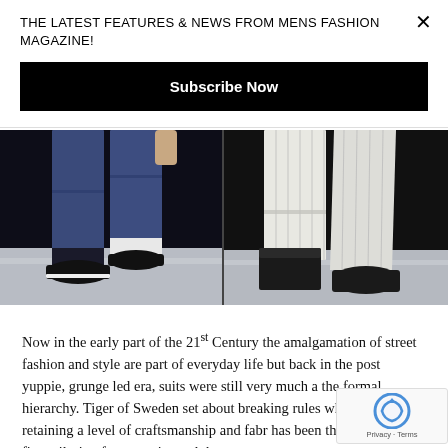THE LATEST FEATURES & NEWS FROM MENS FASHION MAGAZINE!
Subscribe Now
[Figure (photo): Two fashion runway photos showing men's trouser legs: left photo shows blue suit trousers with black shoes, right photo shows white pinstripe trousers with black boots, both on a runway floor]
Now in the early part of the 21st Century the amalgamation of street fashion and style are part of everyday life but back in the post yuppie, grunge led era, suits were still very much a the formal hierarchy. Tiger of Sweden set about breaking rules while still retaining a level of craftsmanship and fabr has been the main stay of fine tailoring for centuries and they are